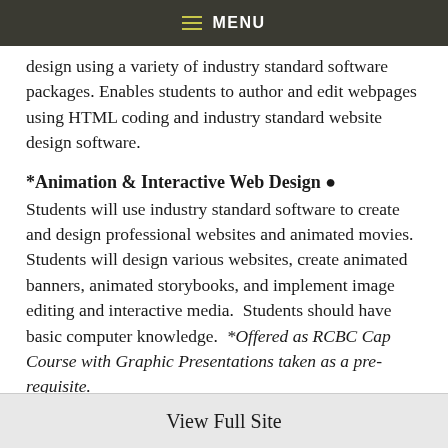MENU
design using a variety of industry standard software packages. Enables students to author and edit webpages using HTML coding and industry standard website design software.
*Animation & Interactive Web Design •
Students will use industry standard software to create and design professional websites and animated movies. Students will design various websites, create animated banners, animated storybooks, and implement image editing and interactive media.  Students should have basic computer knowledge.  *Offered as RCBC Cap Course with Graphic Presentations taken as a pre-requisite.
View Full Site